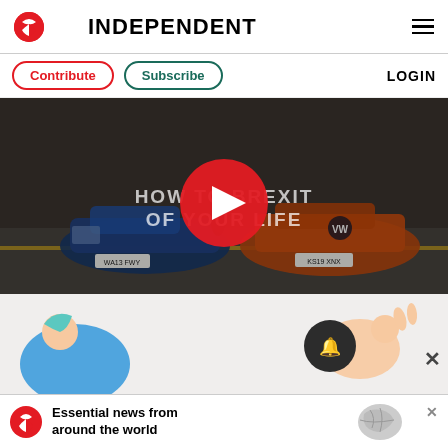INDEPENDENT
Contribute  Subscribe  LOGIN
[Figure (screenshot): Video thumbnail showing two cars on a street with overlay text 'HOW TO BREXIT OF YOUR LIFE' and a red play button in the center]
[Figure (illustration): Illustrated figures partially visible at bottom of page with notification bell and close button]
[Figure (screenshot): Advertisement banner: The Independent logo with text 'Essential news from around the world']